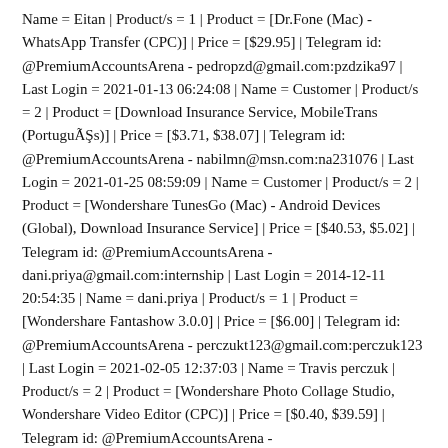Name = Eitan | Product/s = 1 | Product = [Dr.Fone (Mac) - WhatsApp Transfer (CPC)] | Price = [$29.95] | Telegram id: @PremiumAccountsArena - pedropzd@gmail.com:pzdzika97 | Last Login = 2021-01-13 06:24:08 | Name = Customer | Product/s = 2 | Product = [Download Insurance Service, MobileTrans (PortuguÃŞs)] | Price = [$3.71, $38.07] | Telegram id: @PremiumAccountsArena - nabilmn@msn.com:na231076 | Last Login = 2021-01-25 08:59:09 | Name = Customer | Product/s = 2 | Product = [Wondershare TunesGo (Mac) - Android Devices (Global), Download Insurance Service] | Price = [$40.53, $5.02] | Telegram id: @PremiumAccountsArena - dani.priya@gmail.com:internship | Last Login = 2014-12-11 20:54:35 | Name = dani.priya | Product/s = 1 | Product = [Wondershare Fantashow 3.0.0] | Price = [$6.00] | Telegram id: @PremiumAccountsArena - perczukt123@gmail.com:perczuk123 | Last Login = 2021-02-05 12:37:03 | Name = Travis perczuk | Product/s = 2 | Product = [Wondershare Photo Collage Studio, Wondershare Video Editor (CPC)] | Price = [$0.40, $39.59] | Telegram id: @PremiumAccountsArena -